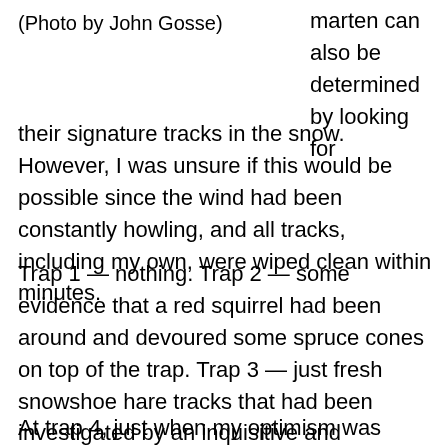(Photo by John Gosse)
marten can also be determined by looking for their signature tracks in the snow. However, I was unsure if this would be possible since the wind had been constantly howling, and all tracks, including my own, were wiped clean within minutes.
Trap 1 — nothing. Trap 2 — some evidence that a red squirrel had been around and devoured some spruce cones on top of the trap. Trap 3 — just fresh snowshoe hare tracks that had been investigated by an inquisitive and undoubtedly hungry fox.
At trap 4, just when my optimism was starting to fade,